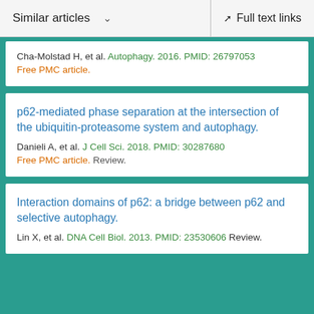Similar articles   ∨   Full text links
Cha-Molstad H, et al. Autophagy. 2016. PMID: 26797053
Free PMC article.
p62-mediated phase separation at the intersection of the ubiquitin-proteasome system and autophagy.
Danieli A, et al. J Cell Sci. 2018. PMID: 30287680
Free PMC article. Review.
Interaction domains of p62: a bridge between p62 and selective autophagy.
Lin X, et al. DNA Cell Biol. 2013. PMID: 23530606 Review.